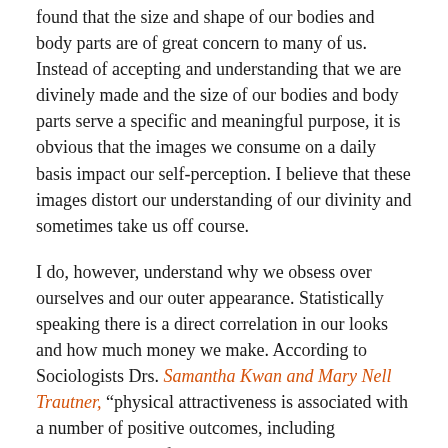found that the size and shape of our bodies and body parts are of great concern to many of us. Instead of accepting and understanding that we are divinely made and the size of our bodies and body parts serve a specific and meaningful purpose, it is obvious that the images we consume on a daily basis impact our self-perception. I believe that these images distort our understanding of our divinity and sometimes take us off course.
I do, however, understand why we obsess over ourselves and our outer appearance. Statistically speaking there is a direct correlation in our looks and how much money we make. According to Sociologists Drs. Samantha Kwan and Mary Nell Trautner, “physical attractiveness is associated with a number of positive outcomes, including employment benefits such as hiring, wages, and promotion, and is correlated with social and personal rewards such as work satisfaction, positive perceptions of others, and higher self-esteem.”